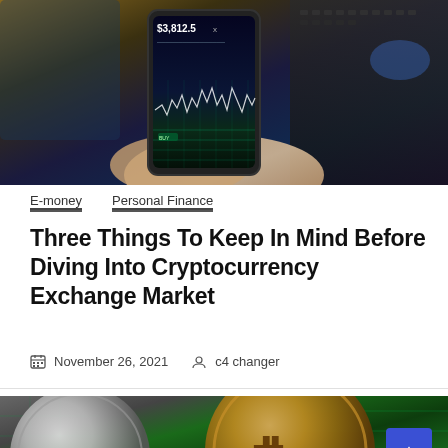[Figure (photo): Person holding a smartphone showing a cryptocurrency trading chart with price $3,812.5x, with a laptop keyboard visible in the background]
E-money   Personal Finance
Three Things To Keep In Mind Before Diving Into Cryptocurrency Exchange Market
November 26, 2021  c4 changer
[Figure (photo): Two cryptocurrency coins: a silver coin on the left and a golden Bitcoin (BTC) coin with the Bitcoin symbol on the right, on a green circuit board background, with a blue scroll-to-top button]